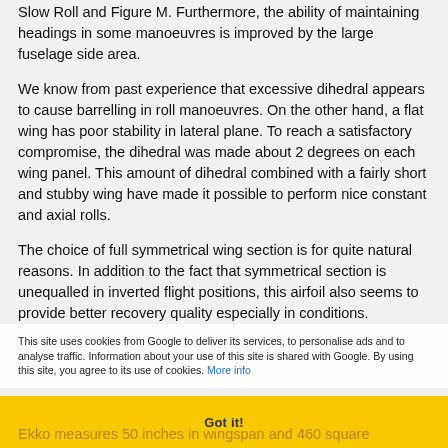Slow Roll and Figure M. Furthermore, the ability of maintaining headings in some manoeuvres is improved by the large fuselage side area.
We know from past experience that excessive dihedral appears to cause barrelling in roll manoeuvres. On the other hand, a flat wing has poor stability in lateral plane. To reach a satisfactory compromise, the dihedral was made about 2 degrees on each wing panel. This amount of dihedral combined with a fairly short and stubby wing have made it possible to perform nice constant and axial rolls.
The choice of full symmetrical wing section is for quite natural reasons. In addition to the fact that symmetrical section is unequalled in inverted flight positions, this airfoil also seems to provide better recovery quality especially in conditions.
This site uses cookies from Google to deliver its services, to personalise ads and to analyse traffic. Information about your use of this site is shared with Google. By using this site, you agree to its use of cookies. More info
Got it!
Ekko measures 50 inches in wingspan and 460 square